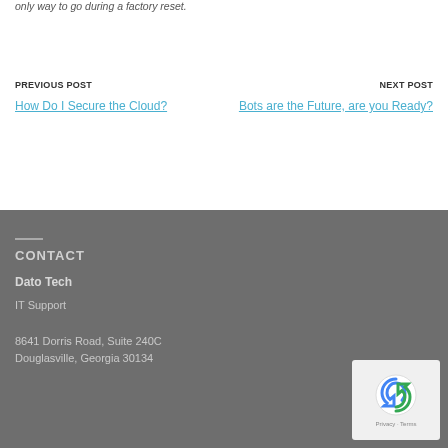only way to go during a factory reset.
PREVIOUS POST
How Do I Secure the Cloud?
NEXT POST
Bots are the Future, are you Ready?
CONTACT
Dato Tech
IT Support
8641 Dorris Road, Suite 240C
Douglasville, Georgia 30134